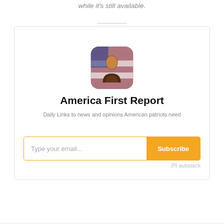while it's still available.
[Figure (illustration): Avatar photo of a person in front of an American flag background, displayed as a rounded square thumbnail]
America First Report
Daily Links to news and opinions American patriots need
Type your email... Subscribe
substack